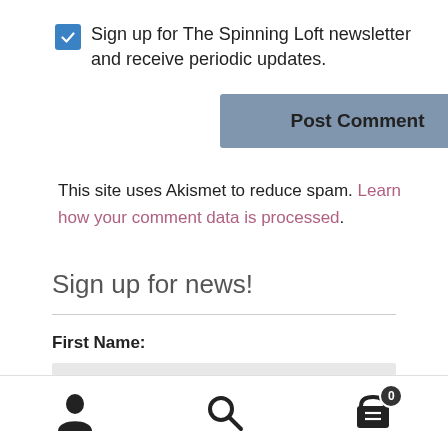Sign up for The Spinning Loft newsletter and receive periodic updates.
Post Comment
This site uses Akismet to reduce spam. Learn how your comment data is processed.
Sign up for news!
First Name:
[Figure (infographic): Bottom navigation toolbar with user/account icon, search icon, and shopping cart icon with badge showing 0]